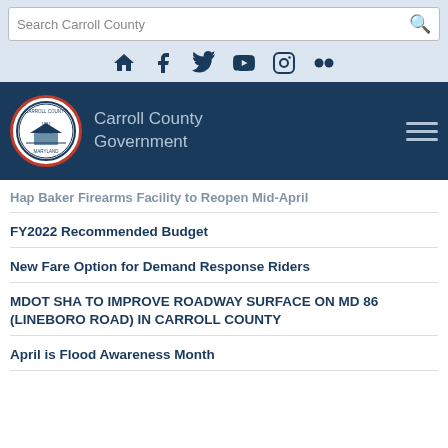Search Carroll County
[Figure (screenshot): Carroll County Government website header with search bar, social media icons, and navigation logo]
Hap Baker Firearms Facility to Reopen Mid-April
FY2022 Recommended Budget
New Fare Option for Demand Response Riders
MDOT SHA TO IMPROVE ROADWAY SURFACE ON MD 86 (LINEBORO ROAD) IN CARROLL COUNTY
April is Flood Awareness Month